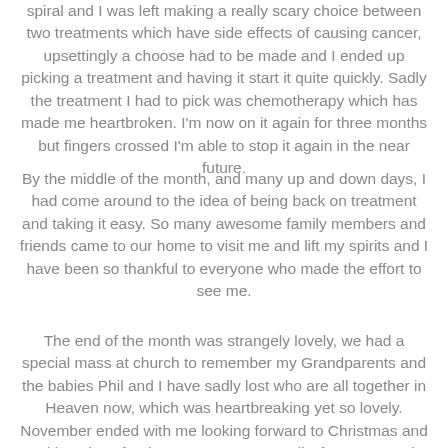spiral and I was left making a really scary choice between two treatments which have side effects of causing cancer, upsettingly a choose had to be made and I ended up picking a treatment and having it start it quite quickly. Sadly the treatment I had to pick was chemotherapy which has made me heartbroken. I'm now on it again for three months but fingers crossed I'm able to stop it again in the near future.
By the middle of the month, and many up and down days, I had come around to the idea of being back on treatment and taking it easy. So many awesome family members and friends came to our home to visit me and lift my spirits and I have been so thankful to everyone who made the effort to see me.
The end of the month was strangely lovely, we had a special mass at church to remember my Grandparents and the babies Phil and I have sadly lost who are all together in Heaven now, which was heartbreaking yet so lovely. November ended with me looking forward to Christmas and making plans for the new year. Personally, for me, 2019 is going to be very bittersweet, I'm really looking forward to